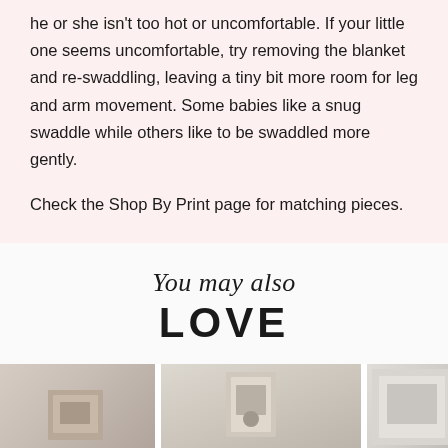he or she isn't too hot or uncomfortable. If your little one seems uncomfortable, try removing the blanket and re-swaddling, leaving a tiny bit more room for leg and arm movement. Some babies like a snug swaddle while others like to be swaddled more gently.
Check the Shop By Print page for matching pieces.
You may also LOVE
[Figure (photo): Three product photos arranged side by side at the bottom of the page]